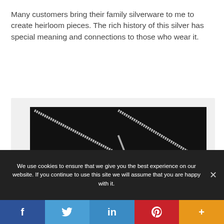Many customers bring their family silverware to me to create heirloom pieces. The rich history of this silver has special meaning and connections to those who wear it.
[Figure (photo): Close-up photo of silver jewelry necklaces on a dark/black background, showing diamond-cut chain links and a straight bar piece crossing diagonally]
We use cookies to ensure that we give you the best experience on our website. If you continue to use this site we will assume that you are happy with it.